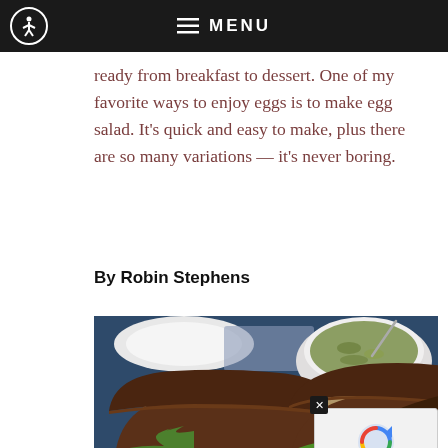☰ MENU
ready from breakfast to dessert. One of my favorite ways to enjoy eggs is to make egg salad. It's quick and easy to make, plus there are so many variations — it's never boring.
By Robin Stephens
[Figure (photo): A close-up photo of egg salad sandwiches on dark rye bread with lettuce, accompanied by a bowl of green soup, on a blue surface with a wooden board.]